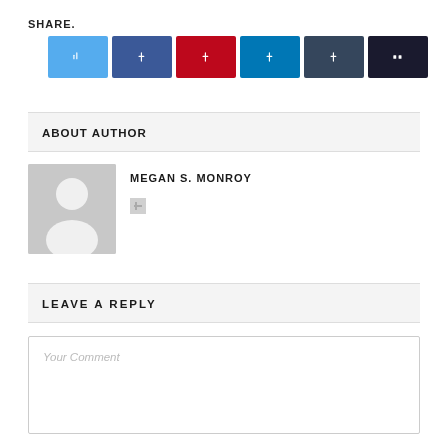SHARE.
[Figure (infographic): Six social share buttons: Twitter (blue), Facebook (dark blue), Pinterest (red), LinkedIn (medium blue), Tumblr (dark blue-grey), More (very dark navy). Each shows a small icon.]
ABOUT AUTHOR
[Figure (photo): Generic avatar placeholder image showing a silhouette person on grey background]
MEGAN S. MONROY
LEAVE A REPLY
Your Comment